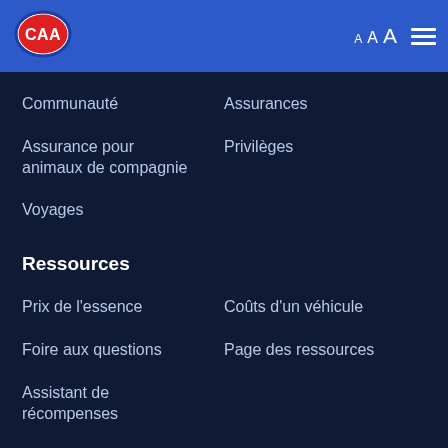[Figure (logo): CAA logo — red oval with blue border and white CAA text]
Communauté
Assurances
Assurance pour animaux de compagnie
Privilèges
Voyages
Ressources
Prix de l'essence
Coûts d'un véhicule
Foire aux questions
Page des ressources
Assistant de récompenses